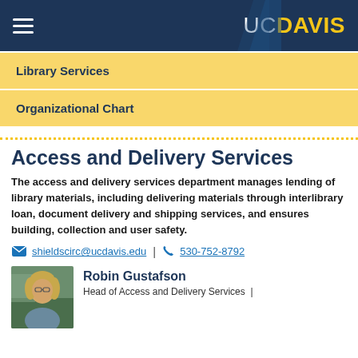UC DAVIS
Library Services
Organizational Chart
Access and Delivery Services
The access and delivery services department manages lending of library materials, including delivering materials through interlibrary loan, document delivery and shipping services, and ensures building, collection and user safety.
shieldscirc@ucdavis.edu | 530-752-8792
Robin Gustafson
Head of Access and Delivery Services |